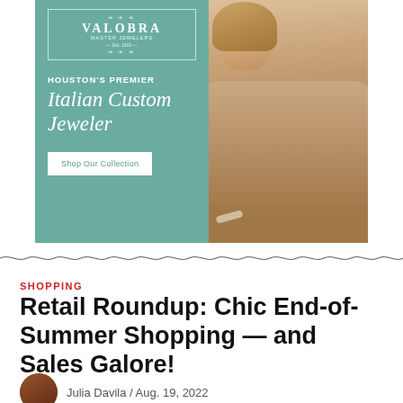[Figure (illustration): Valobra Master Jewelers advertisement banner. Left half: teal/green background with logo text 'VALOBRA Master Jewelers Est. 1919', bold text 'HOUSTON'S PREMIER', italic script text 'Italian Custom Jeweler', white button 'Shop Our Collection'. Right half: photo of a blonde woman wearing a knit sweater and bracelet.]
SHOPPING
Retail Roundup: Chic End-of-Summer Shopping — and Sales Galore!
Julia Davila / Aug. 19, 2022